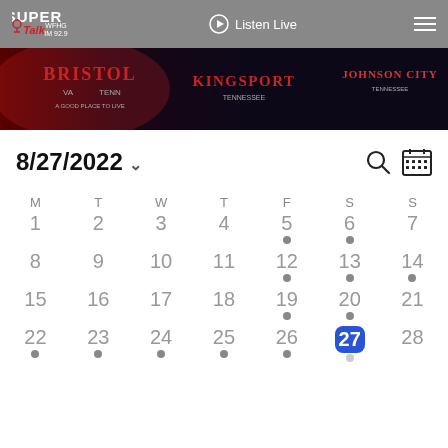SuperTalk WFHG IM 92.9 — Listen Live [hamburger menu]
[Figure (photo): Hero banner showing Bristol VA/Tenn, Kingsport Tennessee, and Johnson City city signs in red neon on dark background]
8/27/2022
| M | T | W | T | F | S | S |
| --- | --- | --- | --- | --- | --- | --- |
| 1 | 2 | 3 | 4 | 5• | 6• | 7 |
| 8 | 9 | 10 | 11 | 12• | 13• | 14• |
| 15 | 16 | 17 | 18 | 19• | 20• | 21 |
| 22• | 23• | 24• | 25• | 26• | 27•(today) | 28 |
| 29 | 30 | 31 |  |  |  |  |